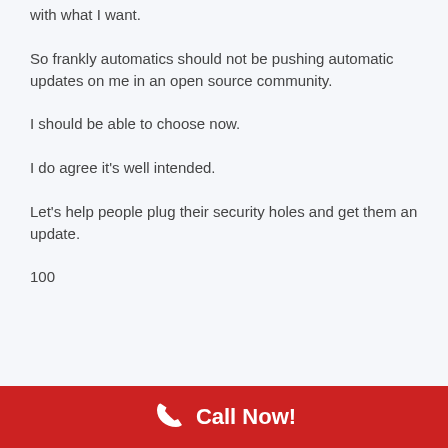with what I want.
So frankly automatics should not be pushing automatic updates on me in an open source community.
I should be able to choose now.
I do agree it’s well intended.
Let's help people plug their security holes and get them an update.
100
Call Now!